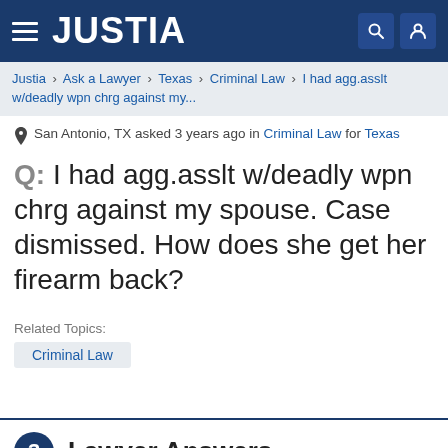JUSTIA
Justia > Ask a Lawyer > Texas > Criminal Law > I had agg.asslt w/deadly wpn chrg against my...
San Antonio, TX asked 3 years ago in Criminal Law for Texas
Q: I had agg.asslt w/deadly wpn chrg against my spouse. Case dismissed. How does she get her firearm back?
Related Topics:
Criminal Law
3 Lawyer Answers